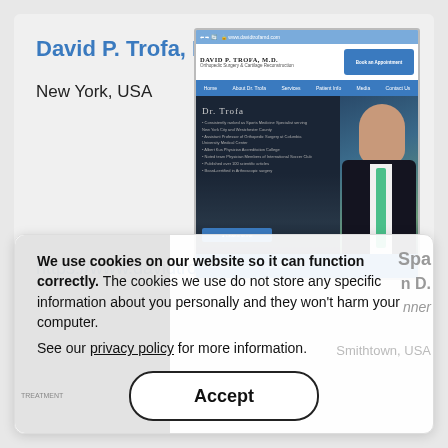David P. Trofa, M.D.
New York, USA
[Figure (screenshot): Screenshot of Dr. David P. Trofa's medical website showing his name, navigation bar, and a hero section with his photo.]
https://www.davidtrofamd.com
We use cookies on our website so it can function correctly. The cookies we use do not store any specific information about you personally and they won't harm your computer.
See our privacy policy for more information.
Accept